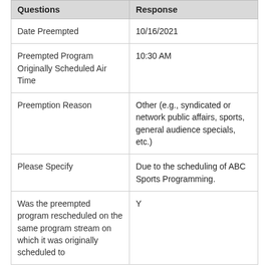| Questions | Response |
| --- | --- |
| Date Preempted | 10/16/2021 |
| Preempted Program Originally Scheduled Air Time | 10:30 AM |
| Preemption Reason | Other (e.g., syndicated or network public affairs, sports, general audience specials, etc.) |
| Please Specify | Due to the scheduling of ABC Sports Programming. |
| Was the preempted program rescheduled on the same program stream on which it was originally scheduled to | Y |